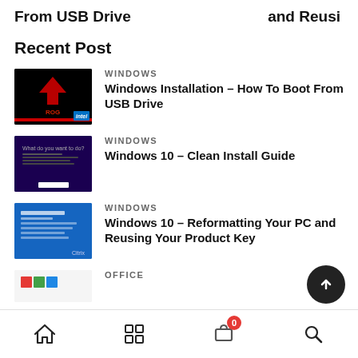From USB Drive    and Reusi
Recent Post
[Figure (screenshot): ASUS ROG BIOS screen on black background with Intel badge]
WINDOWS
Windows Installation – How To Boot From USB Drive
[Figure (screenshot): Windows 10 setup screen on dark purple background]
WINDOWS
Windows 10 – Clean Install Guide
[Figure (screenshot): Windows 10 blue screen with settings/options text]
WINDOWS
Windows 10 – Reformatting Your PC and Reusing Your Product Key
[Figure (screenshot): Office product thumbnail partially visible]
OFFICE